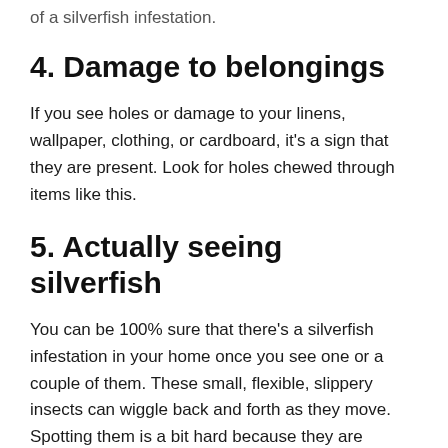of a silverfish infestation.
4. Damage to belongings
If you see holes or damage to your linens, wallpaper, clothing, or cardboard, it's a sign that they are present. Look for holes chewed through items like this.
5. Actually seeing silverfish
You can be 100% sure that there's a silverfish infestation in your home once you see one or a couple of them. These small, flexible, slippery insects can wiggle back and forth as they move. Spotting them is a bit hard because they are nocturnal. But seeing even just one is a good indication that your house is infested with them...